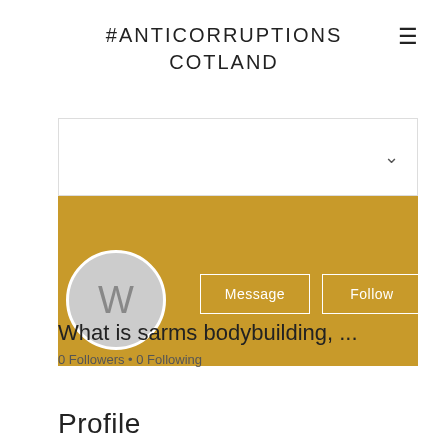#ANTICORRUPTIONSCOTLAND
[Figure (screenshot): Social media profile page screenshot showing a golden/amber banner with profile avatar showing letter W, Message and Follow buttons, username 'What is sarms bodybuilding, ...' and '0 Followers • 0 Following']
What is sarms bodybuilding, ...
0 Followers • 0 Following
Profile